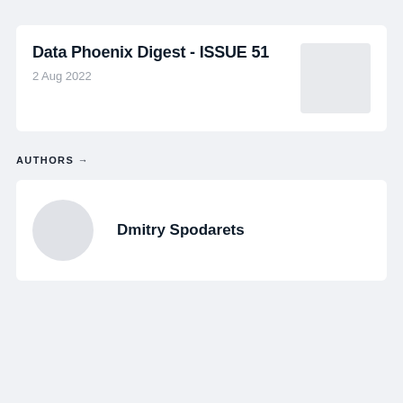Data Phoenix Digest - ISSUE 51
2 Aug 2022
[Figure (photo): Thumbnail image placeholder (light gray rectangle) in the top right of the header card]
AUTHORS →
[Figure (photo): Circular avatar placeholder (light gray circle) for author Dmitry Spodarets]
Dmitry Spodarets